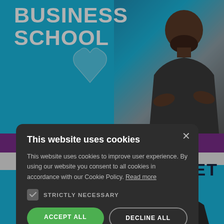[Figure (screenshot): Website screenshot background showing a blue banner with 'BUSINESS SCHOOL' text, a person in a dark t-shirt, a purple strip, a white/cyan section with 'NDSET' partially visible, and a bottom section with another person on a cyan background.]
[Figure (screenshot): Cookie consent modal dialog with dark background. Title: 'This website uses cookies'. Body text about cookies and consent. Checkbox for STRICTLY NECESSARY. Buttons: ACCEPT ALL (green), DECLINE ALL (outlined). Show Details link with gear icon. Powered by COOKIESCRIPT footer.]
This website uses cookies
This website uses cookies to improve user experience. By using our website you consent to all cookies in accordance with our Cookie Policy. Read more
STRICTLY NECESSARY
ACCEPT ALL
DECLINE ALL
SHOW DETAILS
POWERED BY COOKIESCRIPT